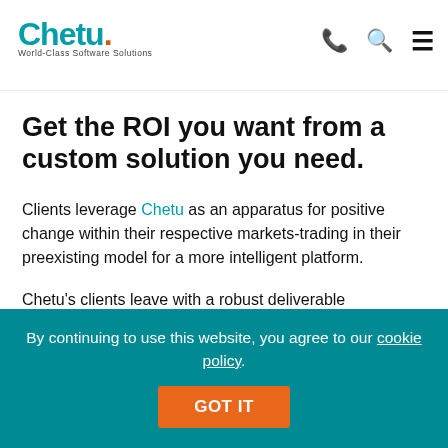approach, depriving clients of a functional platform for communication.
[Figure (logo): Chetu logo with teal text and orange dot, tagline 'World-Class Software Solutions']
Get the ROI you want from a custom solution you need.
Clients leverage Chetu as an apparatus for positive change within their respective markets-trading in their preexisting model for a more intelligent platform.
Chetu's clients leave with a robust deliverable engineered to ignite the ROI they want. And, here is how: by outsourcing, clients minimize initial expenditure without forfeiting quality of code. This
By continuing to use this website, you agree to our cookie policy.